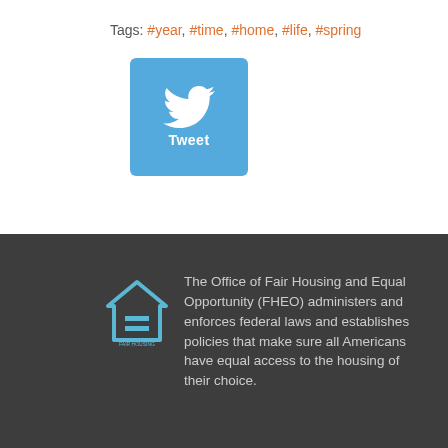Tags: #year, #time, #home, #life, #spring
[Figure (other): Twitter Tweet button — blue rounded square with bird icon and 'Tweet' label]
[Figure (other): Pagination controls: « < 1 > »]
[Figure (logo): FHEO Fair Housing and Equal Opportunity logo — house outline with equals sign]
The Office of Fair Housing and Equal Opportunity (FHEO) administers and enforces federal laws and establishes policies that make sure all Americans have equal access to the housing of their choice.